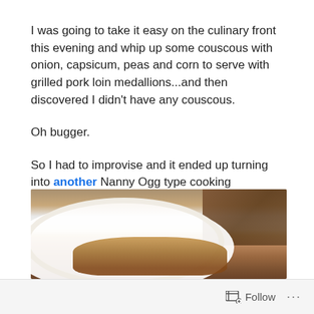I was going to take it easy on the culinary front this evening and whip up some couscous with onion, capsicum, peas and corn to serve with grilled pork loin medallions...and then discovered I didn't have any couscous.
Oh bugger.
So I had to improvise and it ended up turning into another Nanny Ogg type cooking adventure, here's what I came up with:
[Figure (photo): A white plate containing what appears to be a stew or sauce dish, with a wooden board visible in the background. The food appears to have a reddish-brown sauce with rice or grain visible around the rim of the plate.]
Follow ...